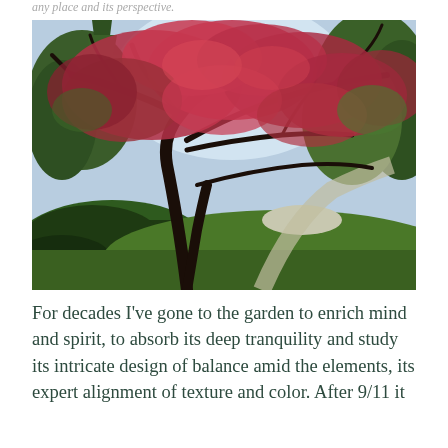any place and its perspective.
[Figure (photo): A Japanese maple tree with vivid red-pink foliage and dramatically curved dark branches, set in a lush green garden landscape with green trees in the background and a path visible in the distance.]
For decades I've gone to the garden to enrich mind and spirit, to absorb its deep tranquility and study its intricate design of balance amid the elements, its expert alignment of texture and color. After 9/11 it